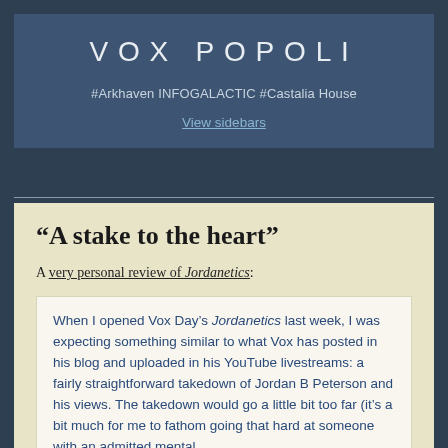VOX POPOLI
#Arkhaven INFOGALACTIC #Castalia House
View sidebars
“A stake to the heart”
A very personal review of Jordanetics:
When I opened Vox Day’s Jordanetics last week, I was expecting something similar to what Vox has posted in his blog and uploaded in his YouTube livestreams: a fairly straightforward takedown of Jordan B Peterson and his views. The takedown would go a little bit too far (it’s a bit much for me to fathom going that hard at someone with an admitted mental